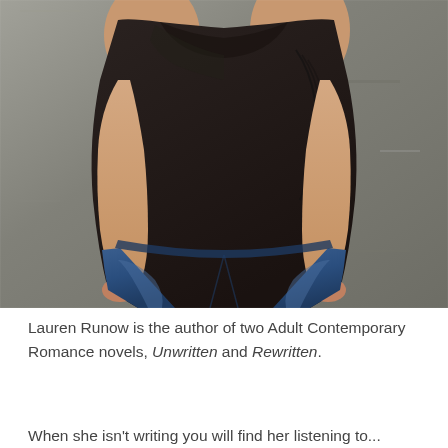[Figure (photo): A woman wearing a black draped sleeveless top and blue jeans, standing against a gray concrete wall. The photo is cropped from mid-torso to mid-thigh, arms at her sides. She is wearing a ring on one hand. Professional author photo.]
Lauren Runow is the author of two Adult Contemporary Romance novels, Unwritten and Rewritten.
When she isn't writing you will find her listening to...